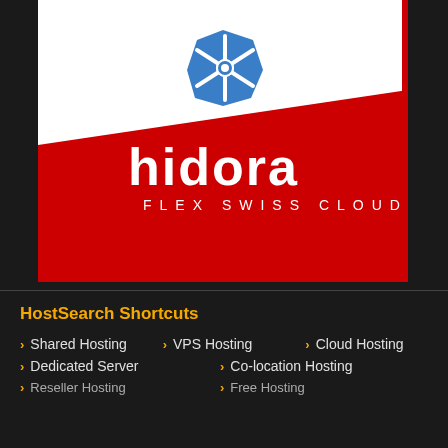[Figure (logo): Hidora Flex Swiss Cloud logo on red and white background with Kubernetes helm wheel icon above]
HostSearch Shortcuts
Shared Hosting
VPS Hosting
Cloud Hosting
Dedicated Server
Co-location Hosting